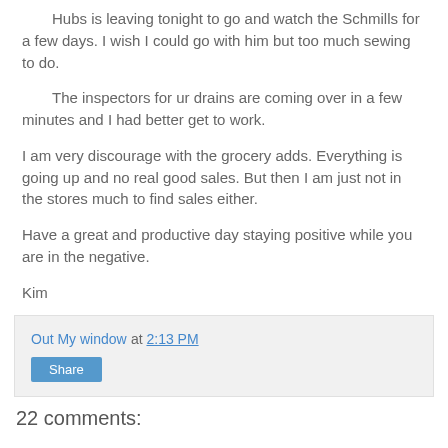Hubs is leaving tonight to go and watch the Schmills for a few days.  I wish I could go with him but too much sewing to do.
The inspectors for ur drains are coming over in a few minutes and I had better get to work.
I am very discourage with the grocery adds.  Everything is going up and no real good sales.  But then I am just not in the stores much to find sales either.
Have a great and productive day staying positive while you are in the negative.
Kim
Out My window at 2:13 PM
Share
22 comments: